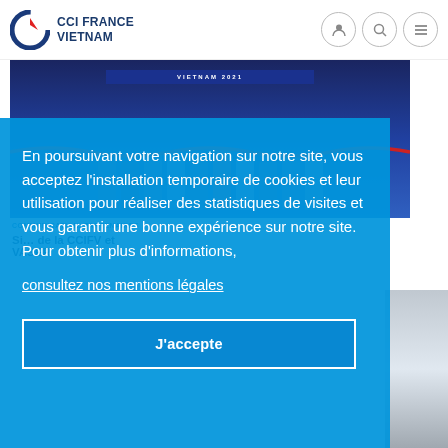[Figure (logo): CCI France Vietnam logo with stylized C icon in red and blue, next to bold text CCI FRANCE VIETNAM]
[Figure (photo): Navigation icons: person, search, and hamburger menu in circles]
[Figure (photo): Event photo showing a group of people standing in front of a blue backdrop with text VIETNAM 2021, with red ribbon/rope in foreground]
COMMUNICATION, PARTENAIRES
Si... de la CCIFV et VASER
En poursuivant votre navigation sur notre site, vous acceptez l'installation temporaire de cookies et leur utilisation pour réaliser des statistiques de visites et vous garantir une bonne expérience sur notre site.
Pour obtenir plus d'informations,
consultez nos mentions légales
J'accepte